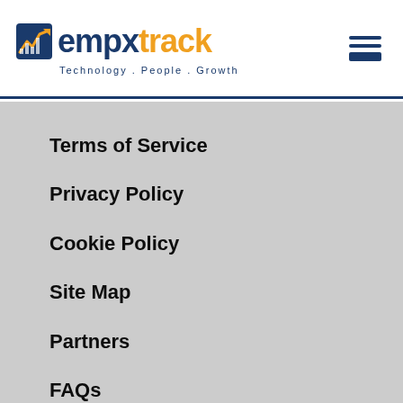[Figure (logo): Empxtrack logo with chart icon, orange 'empxtrack' text and tagline 'Technology. People. Growth']
Terms of Service
Privacy Policy
Cookie Policy
Site Map
Partners
FAQs